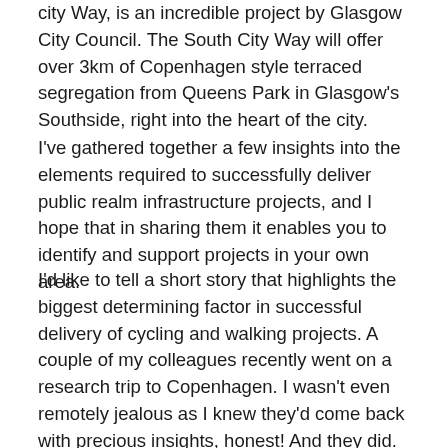city Way, is an incredible project by Glasgow City Council. The South City Way will offer over 3km of Copenhagen style terraced segregation from Queens Park in Glasgow's Southside, right into the heart of the city.
I've gathered together a few insights into the elements required to successfully deliver public realm infrastructure projects, and I hope that in sharing them it enables you to identify and support projects in your own area.
I'd like to tell a short story that highlights the biggest determining factor in successful delivery of cycling and walking projects. A couple of my colleagues recently went on a research trip to Copenhagen. I wasn't even remotely jealous as I knew they'd come back with precious insights, honest! And they did. Whilst there, they met with the team from Gehl Architects. Jan Gehl is the man credited with much of the public realm improvements in Copenhagen that have helped shape it into the thriving city that it now is. More than you can take the dominant contributed